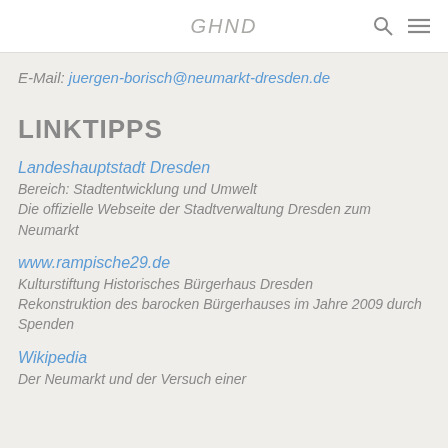GHND
E-Mail: juergen-borisch@neumarkt-dresden.de
LINKTIPPS
Landeshauptstadt Dresden
Bereich: Stadtentwicklung und Umwelt
Die offizielle Webseite der Stadtverwaltung Dresden zum Neumarkt
www.rampische29.de
Kulturstiftung Historisches Bürgerhaus Dresden
Rekonstruktion des barocken Bürgerhauses im Jahre 2009 durch Spenden
Wikipedia
Der Neumarkt und der Versuch einer